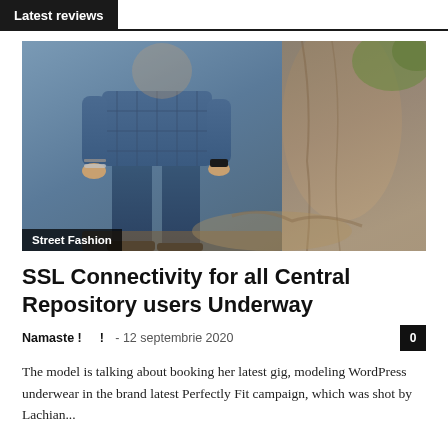Latest reviews
[Figure (photo): Person in blue plaid shirt and jeans sitting outdoors near a tree, Street Fashion label overlay]
SSL Connectivity for all Central Repository users Underway
Namaste ! ! - 12 septembrie 2020  0
The model is talking about booking her latest gig, modeling WordPress underwear in the brand latest Perfectly Fit campaign, which was shot by Lachian...